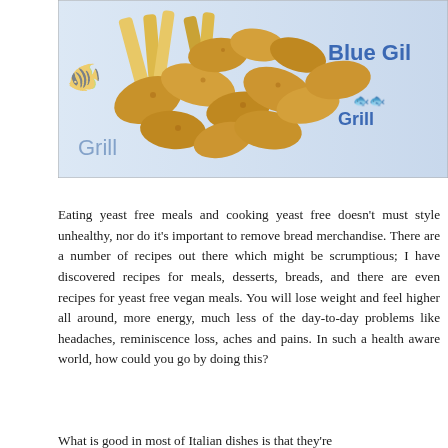[Figure (photo): Photo of fried fish pieces and french fries in a basket lined with Blue Gill Grill branded paper.]
Eating yeast free meals and cooking yeast free doesn't must style unhealthy, nor do it's important to remove bread merchandise. There are a number of recipes out there which might be scrumptious; I have discovered recipes for meals, desserts, breads, and there are even recipes for yeast free vegan meals. You will lose weight and feel higher all around, more energy, much less of the day-to-day problems like headaches, reminiscence loss, aches and pains. In such a health aware world, how could you go by doing this?
What is good in most of Italian dishes is that they're